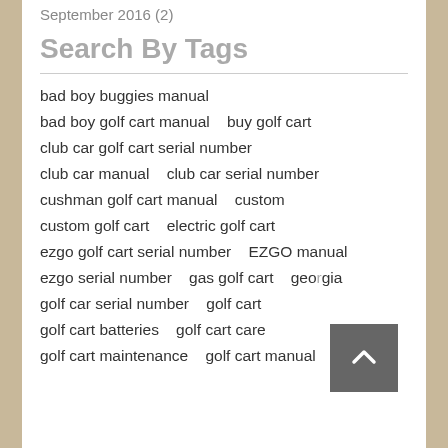September 2016 (2)
Search By Tags
bad boy buggies manual
bad boy golf cart manual   buy golf cart
club car golf cart serial number
club car manual   club car serial number
cushman golf cart manual   custom
custom golf cart   electric golf cart
ezgo golf cart serial number   EZGO manual
ezgo serial number   gas golf cart   georgia
golf car serial number   golf cart
golf cart batteries   golf cart care
golf cart maintenance   golf cart manual